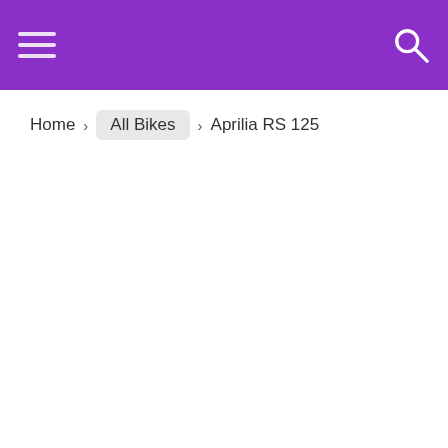Menu / Search header bar
Home > All Bikes > Aprilia RS 125